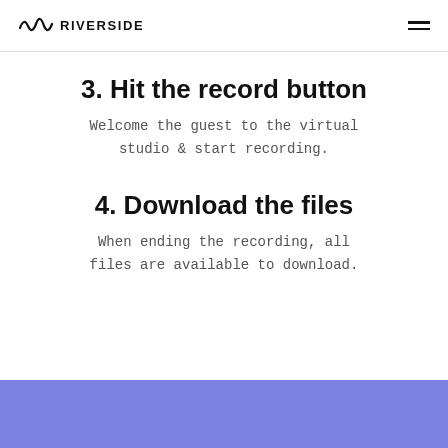RIVERSIDE
3. Hit the record button
Welcome the guest to the virtual studio & start recording.
4. Download the files
When ending the recording, all files are available to download.